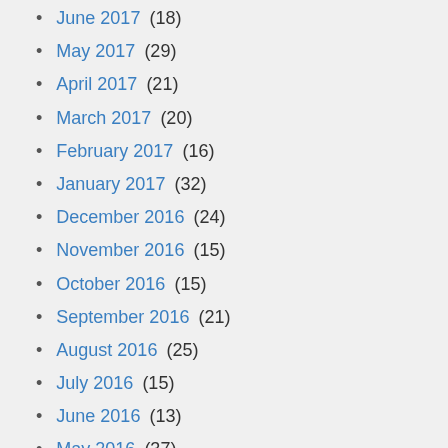June 2017 (18)
May 2017 (29)
April 2017 (21)
March 2017 (20)
February 2017 (16)
January 2017 (32)
December 2016 (24)
November 2016 (15)
October 2016 (15)
September 2016 (21)
August 2016 (25)
July 2016 (15)
June 2016 (13)
May 2016 (37)
April 2016 (45)
March 2016 (36)
February 2016 (30)
January 2016 (20)